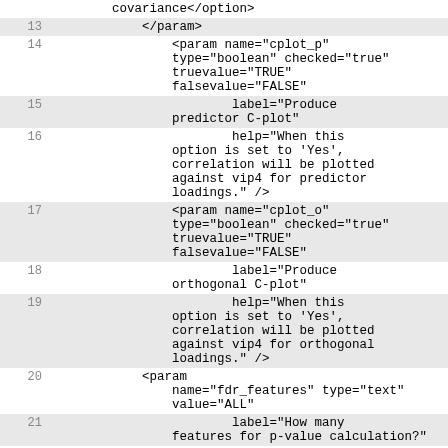covariance</option>
13    </param>
14        <param name="cplot_p" type="boolean" checked="true" truevalue="TRUE" falsevalue="FALSE"
15                label="Produce predictor C-plot"
16                help="When this option is set to 'Yes', correlation will be plotted against vip4 for predictor loadings." />
17        <param name="cplot_o" type="boolean" checked="true" truevalue="TRUE" falsevalue="FALSE"
18                label="Produce orthogonal C-plot"
19                help="When this option is set to 'Yes', correlation will be plotted against vip4 for orthogonal loadings." />
20        <param name="fdr_features" type="text" value="ALL"
21                label="How many features for p-value calculation?"
22                help="Specify how many features should be used to